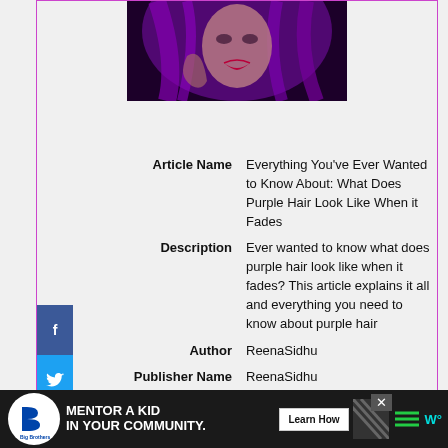[Figure (photo): Woman with dark purple/magenta hair and red lips against a dark background with purple lighting]
| Article Name | Everything You've Ever Wanted to Know About: What Does Purple Hair Look Like When it Fades |
| Description | Ever wanted to know what does purple hair look like when it fades? This article explains it all and everything you need to know about purple hair |
| Author | ReenaSidhu |
| Publisher Name | ReenaSidhu |
| Publisher Logo | ReenaSidhu |
[Figure (infographic): Bottom advertisement bar: Big Brothers Big Sisters logo, MENTOR A KID IN YOUR COMMUNITY., Learn How button, decorative pattern, close X button, W° icon]